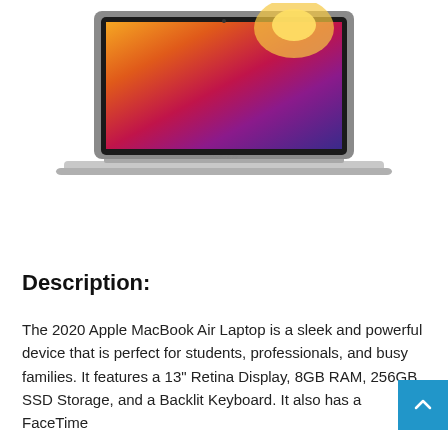[Figure (photo): Apple MacBook Air laptop shown from the front with colorful gradient wallpaper on screen in silver/space gray color. The lid is open showing the display.]
Check on Amazon
Description:
The 2020 Apple MacBook Air Laptop is a sleek and powerful device that is perfect for students, professionals, and busy families. It features a 13" Retina Display, 8GB RAM, 256GB SSD Storage, and a Backlit Keyboard. It also has a FaceTime